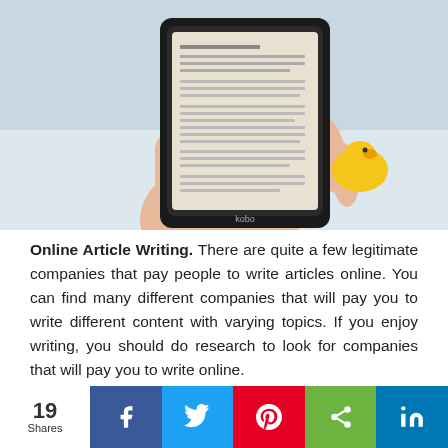[Figure (photo): A hand holding a Kobo e-reader displaying text, with a yellow rubber duck in the background on a light surface.]
Online Article Writing. There are quite a few legitimate companies that pay people to write articles online. You can find many different companies that will pay you to write different content with varying topics. If you enjoy writing, you should do research to look for companies that will pay you to write online.
19 Shares  [Facebook] [Twitter] [Pinterest] [Share] [LinkedIn]